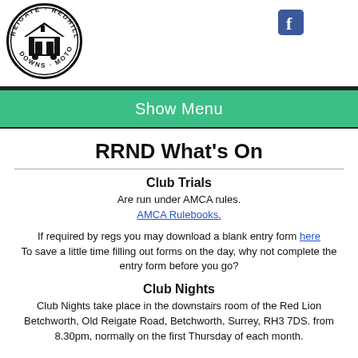[Figure (logo): Reigate Redhill North Downs Motor Club circular badge logo]
[Figure (logo): Facebook icon square blue logo]
Show Menu
RRND What's On
Club Trials
Are run under AMCA rules.
AMCA Rulebooks.
If required by regs you may download a blank entry form here
To save a little time filling out forms on the day, why not complete the entry form before you go?
Club Nights
Club Nights take place in the downstairs room of the Red Lion Betchworth, Old Reigate Road, Betchworth, Surrey, RH3 7DS. from 8.30pm, normally on the first Thursday of each month.